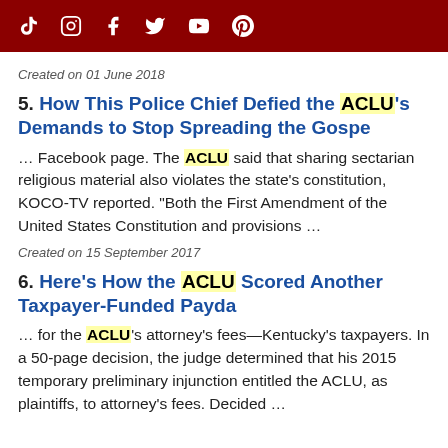Social media icons bar (TikTok, Instagram, Facebook, Twitter, YouTube, Pinterest)
Created on 01 June 2018
5. How This Police Chief Defied the ACLU's Demands to Stop Spreading the Gospe
… Facebook page. The ACLU said that sharing sectarian religious material also violates the state's constitution, KOCO-TV reported. "Both the First Amendment of the United States Constitution and provisions …
Created on 15 September 2017
6. Here's How the ACLU Scored Another Taxpayer-Funded Payda
… for the ACLU's attorney's fees—Kentucky's taxpayers. In a 50-page decision, the judge determined that his 2015 temporary preliminary injunction entitled the ACLU, as plaintiffs, to attorney's fees. Decided …